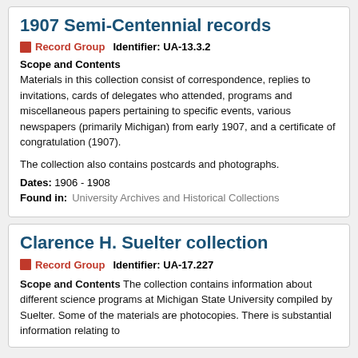1907 Semi-Centennial records
Record Group   Identifier: UA-13.3.2
Scope and Contents
Materials in this collection consist of correspondence, replies to invitations, cards of delegates who attended, programs and miscellaneous papers pertaining to specific events, various newspapers (primarily Michigan) from early 1907, and a certificate of congratulation (1907).

The collection also contains postcards and photographs.
Dates: 1906 - 1908
Found in:   University Archives and Historical Collections
Clarence H. Suelter collection
Record Group   Identifier: UA-17.227
Scope and Contents The collection contains information about different science programs at Michigan State University compiled by Suelter. Some of the materials are photocopies. There is substantial information relating to